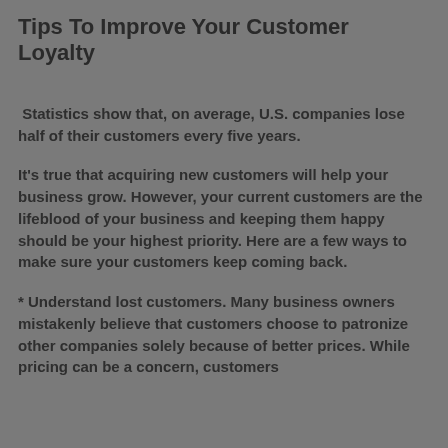Tips To Improve Your Customer Loyalty
Statistics show that, on average, U.S. companies lose half of their customers every five years.
It's true that acquiring new customers will help your business grow. However, your current customers are the lifeblood of your business and keeping them happy should be your highest priority. Here are a few ways to make sure your customers keep coming back.
* Understand lost customers. Many business owners mistakenly believe that customers choose to patronize other companies solely because of better prices. While pricing can be a concern, customers